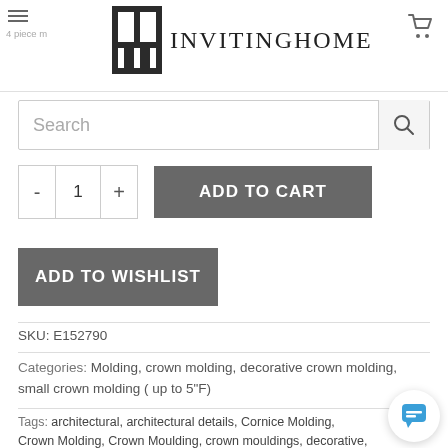InvitingHome
Search
ADD TO CART
ADD TO WISHLIST
SKU: E152790
Categories: Molding, crown molding, decorative crown molding, small crown molding ( up to 5"F)
Tags: architectural, architectural details, Cornice Molding, Crown Molding, Crown Moulding, crown mouldings, decorative, Decorative Crown Molding, Decorative Molding, interior design, Molding, mo' Moulding, mouldings, ornate, ornate molding, polyurethane mold' quality molding